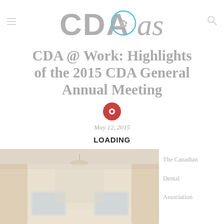CDA Oasis
CDA @ Work: Highlights of the 2015 CDA General Annual Meeting
May 12, 2015
LOADING
[Figure (photo): Interior photo of a meeting hall with chandelier, curtains, and presentation screens, partially faded/transparent]
The Canadian Dental Association